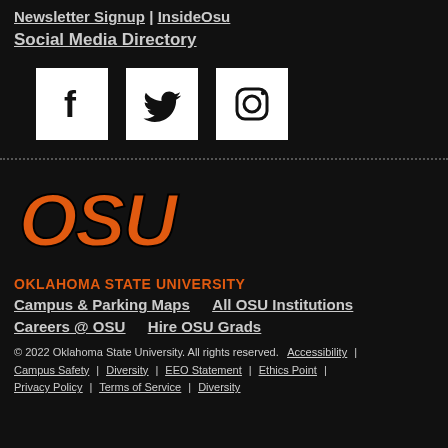Newsletter Signup | InsideOsu
Social Media Directory
[Figure (illustration): Three social media icon boxes side by side: Facebook (f), Twitter (bird), Instagram (camera icon), each white square on black background]
OKLAHOMA STATE UNIVERSITY
Campus & Parking Maps    All OSU Institutions
Careers @ OSU    Hire OSU Grads
© 2022 Oklahoma State University. All rights reserved.  Accessibility | Campus Safety | Diversity | EEO Statement | Ethics Point | Privacy Policy | Terms of Service | Diversity